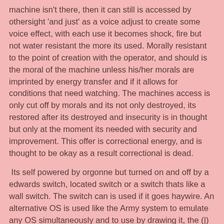machine isn't there, then it can still is accessed by othersight 'and just' as a voice adjust to create some voice effect, with each use it becomes shock, fire but not water resistant the more its used. Morally resistant to the point of creation with the operator, and should is the moral of the machine unless his/her morals are imprinted by energy transfer and if it allows for conditions that need watching. The machines access is only cut off by morals and its not only destroyed, its restored after its destroyed and insecurity is in thought but only at the moment its needed with security and improvement. This offer is correctional energy, and is thought to be okay as a result correctional is dead.
Its self powered by orgonne but turned on and off by a edwards switch, located switch or a switch thats like a wall switch. The switch can is used if it goes haywire. An alternative OS is used like the Army system to emulate any OS simultaneously and to use by drawing it, the (|) sigil turns it on, but the () "null" symbol turns it off as with the other switch idea, like imagine a power switch and use it. The "parts" are the components that auto-update of what you think on an idea, in harry potter as an idea of themselves